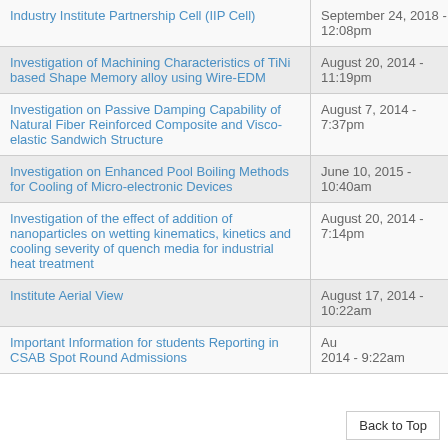| Title | Date |
| --- | --- |
| Industry Institute Partnership Cell (IIP Cell) | September 24, 2018 - 12:08pm |
| Investigation of Machining Characteristics of TiNi based Shape Memory alloy using Wire-EDM | August 20, 2014 - 11:19pm |
| Investigation on Passive Damping Capability of Natural Fiber Reinforced Composite and Visco-elastic Sandwich Structure | August 7, 2014 - 7:37pm |
| Investigation on Enhanced Pool Boiling Methods for Cooling of Micro-electronic Devices | June 10, 2015 - 10:40am |
| Investigation of the effect of addition of nanoparticles on wetting kinematics, kinetics and cooling severity of quench media for industrial heat treatment | August 20, 2014 - 7:14pm |
| Institute Aerial View | August 17, 2014 - 10:22am |
| Important Information for students Reporting in CSAB Spot Round Admissions | August 20, 2014 - 9:22am |